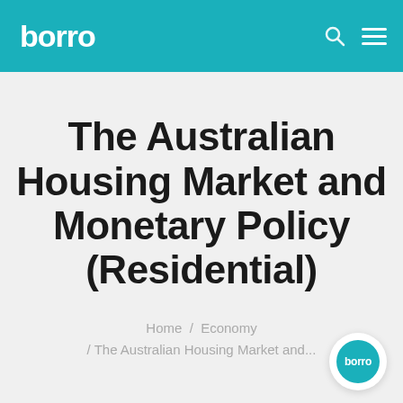borro
The Australian Housing Market and Monetary Policy (Residential)
Home / Economy / The Australian Housing Market and...
[Figure (logo): Borro circular badge logo with teal background at bottom right]